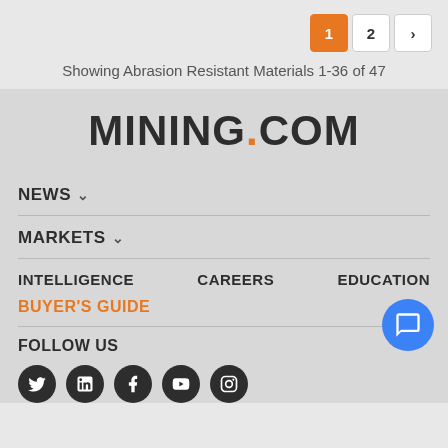Showing Abrasion Resistant Materials 1-36 of 47
[Figure (screenshot): Pagination controls showing page 1 (active, orange), page 2, and next arrow button]
[Figure (logo): MINING.COM logo with orange dot]
NEWS
MARKETS
INTELLIGENCE
CAREERS
EDUCATION
BUYER'S GUIDE
FOLLOW US
[Figure (infographic): Five social media icons (Twitter, LinkedIn, Facebook, YouTube, Instagram) in dark circles]
[Figure (other): Blue circular chat/messenger button in bottom right]